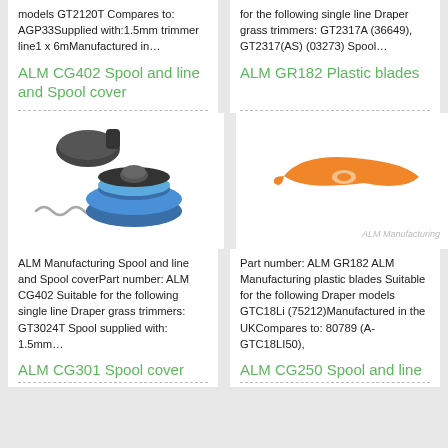models GT2120T Compares to: AGP33Supplied with:1.5mm trimmer line1 x 6mManufactured in…
for the following single line Draper grass trimmers: GT2317A (36649), GT2317(AS) (03273) Spool…
ALM CG402 Spool and line and Spool cover
ALM GR182 Plastic blades
[Figure (photo): ALM CG402 spool and line and spool cover parts: cap, spool with blue line, and spring]
[Figure (photo): ALM GR182 orange plastic trimmer blade with ALM Manufacturing watermark]
ALM Manufacturing Spool and line and Spool coverPart number: ALM CG402 Suitable for the following single line Draper grass trimmers: GT3024T Spool supplied with: 1.5mm…
Part number: ALM GR182 ALM Manufacturing plastic blades Suitable for the following Draper models GTC18Li (75212)Manufactured in the UKCompares to: 80789 (A-GTC18LI50),
ALM CG301 Spool cover
ALM CG250 Spool and line